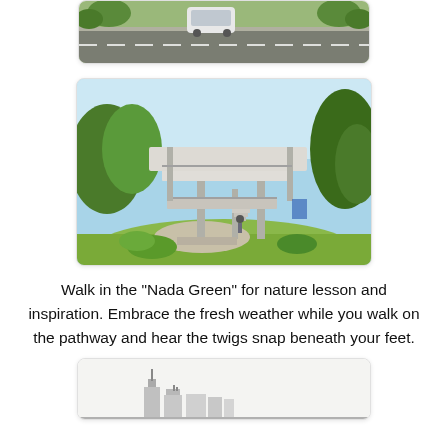[Figure (photo): Partial view of a road/parking area with a white vehicle and green trees lining the sides, architectural rendering or photo.]
[Figure (photo): Architectural rendering of a modern open-air pavilion structure with a flat roof and railings, surrounded by lush green trees and landscaped pathways. A person stands near the structure. Called 'Nada Green'.]
Walk in the "Nada Green" for nature lesson and inspiration. Embrace the fresh weather while you walk on the pathway and hear the twigs snap beneath your feet.
[Figure (photo): Bottom partial image showing a skyline or architectural illustration, partially cut off at page bottom.]